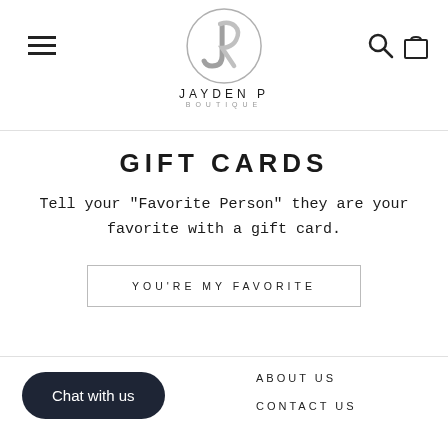[Figure (logo): Jayden P Boutique logo: circular monogram with overlapping J and P letters in grey, with brand name JAYDEN P BOUTIQUE below]
GIFT CARDS
Tell your "Favorite Person" they are your favorite with a gift card.
YOU'RE MY FAVORITE
Chat with us
ABOUT US
CONTACT US